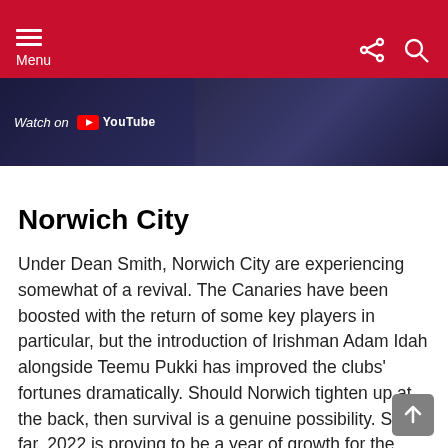Menu
[Figure (screenshot): Dark banner showing 'Watch on YouTube' text with YouTube logo on left side, dark background with figure on right]
Norwich City
Under Dean Smith, Norwich City are experiencing somewhat of a revival. The Canaries have been boosted with the return of some key players in particular, but the introduction of Irishman Adam Idah alongside Teemu Pukki has improved the clubs' fortunes dramatically. Should Norwich tighten up at the back, then survival is a genuine possibility. So far, 2022 is proving to be a year of growth for the side.